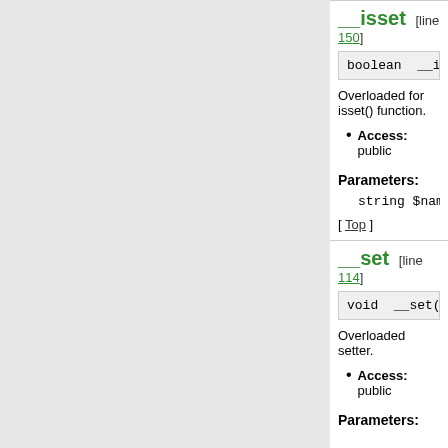__isset  [line 150]
boolean __isset( string
Overloaded for isset() function.
Access: public
Parameters:
string $name  — name of pro
[ Top ]
__set  [line 114]
void __set( string $name
Overloaded setter.
Access: public
Parameters: